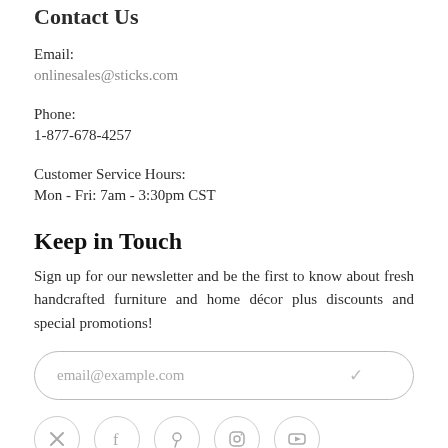Contact Us
Email:
onlinesales@sticks.com
Phone:
1-877-678-4257
Customer Service Hours:
Mon - Fri: 7am - 3:30pm CST
Keep in Touch
Sign up for our newsletter and be the first to know about fresh handcrafted furniture and home décor plus discounts and special promotions!
email@example.com
[Figure (illustration): Row of five circular social media icon buttons (Twitter/X, Facebook, Pinterest, Instagram, YouTube) with gray outlines, partially visible at bottom of page]